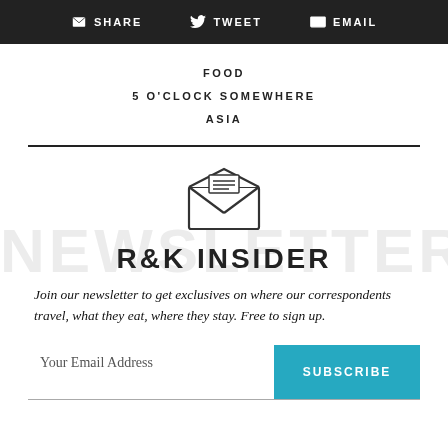SHARE   TWEET   EMAIL
FOOD
5 O'CLOCK SOMEWHERE
ASIA
[Figure (illustration): Open envelope icon with letter inside and X fold lines, above watermark text NEWSLETTER]
R&K INSIDER
Join our newsletter to get exclusives on where our correspondents travel, what they eat, where they stay. Free to sign up.
Your Email Address   SUBSCRIBE